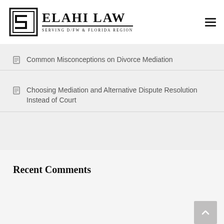ELAHI LAW — Serving D/FW & Florida Region
Common Misconceptions on Divorce Mediation
Choosing Mediation and Alternative Dispute Resolution Instead of Court
Recent Comments